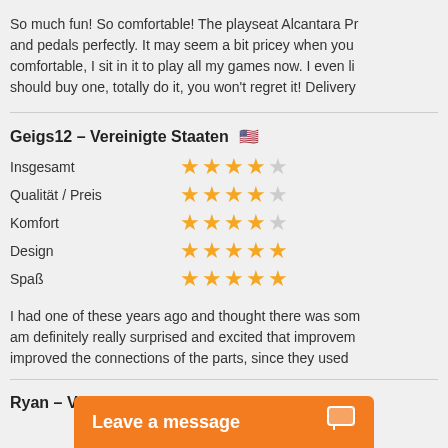So much fun! So comfortable! The playseat Alcantara Pr and pedals perfectly. It may seem a bit pricey when you comfortable, I sit in it to play all my games now. I even li should buy one, totally do it, you won't regret it! Delivery
Geigs12 - Vereinigte Staaten 🇺🇸
Insgesamt ★★★★☆
Qualität / Preis ★★★★☆
Komfort ★★★★☆
Design ★★★★★
Spaß ★★★★★
I had one of these years ago and thought there was som am definitely really surprised and excited that improvem improved the connections of the parts, since they used
Ryan - Vereinigte
Leave a message